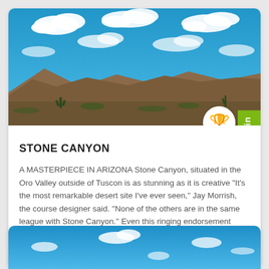[Figure (photo): Arizona desert landscape with blue sky, white clouds, rocky hills, cacti and desert shrubs]
STONE CANYON
A MASTERPIECE IN ARIZONA Stone Canyon, situated in the Oro Valley outside of Tuscon is as stunning as it is creative "It's the most remarkable desert site I've ever seen," Jay Morrish, the course designer said. "None of the others are in the same league with Stone Canyon." Even this ringing endorsement does not do …
READ MOREContinue reading
[Figure (photo): Partial view of another desert landscape card with blue sky and clouds]